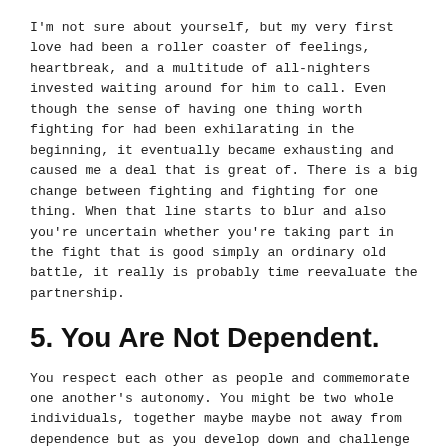I'm not sure about yourself, but my very first love had been a roller coaster of feelings, heartbreak, and a multitude of all-nighters invested waiting around for him to call. Even though the sense of having one thing worth fighting for had been exhilarating in the beginning, it eventually became exhausting and caused me a deal that is great of. There is a big change between fighting and fighting for one thing. When that line starts to blur and also you're uncertain whether you're taking part in the fight that is good simply an ordinary old battle, it really is probably time reevaluate the partnership.
5. You Are Not Dependent.
You respect each other as people and commemorate one another's autonomy. You might be two whole individuals, together maybe maybe not away from dependence but as you develop down and challenge one another to develop. Due to this, you can actually remain grounded in who you are.